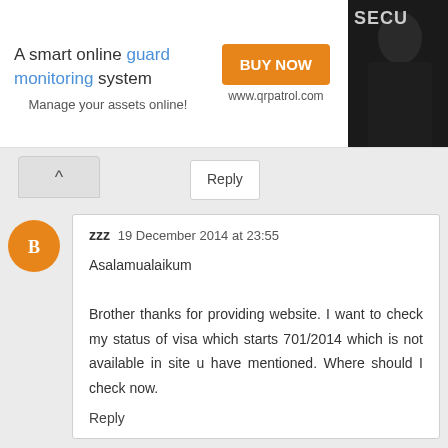[Figure (screenshot): Advertisement banner for QR Patrol, a smart online guard monitoring system. Shows 'A smart online guard monitoring system' text with 'guard monitoring' in blue, an orange 'BUY NOW' button, 'www.qrpatrol.com' URL, and a security guard photo on the right with 'SECU' text label.]
Reply
[Figure (other): Orange circular avatar with a blogger 'B' icon representing user 'zzz']
zzz  19 December 2014 at 23:55

Asalamualaikum

Brother thanks for providing website. I want to check my status of visa which starts 701/2014 which is not available in site u have mentioned. Where should I check now.

Reply